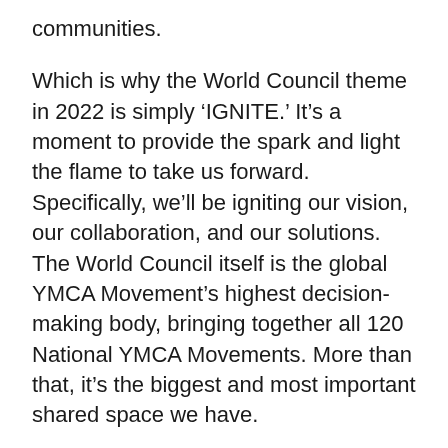communities.
Which is why the World Council theme in 2022 is simply ‘IGNITE.’ It’s a moment to provide the spark and light the flame to take us forward. Specifically, we’ll be igniting our vision, our collaboration, and our solutions. The World Council itself is the global YMCA Movement’s highest decision-making body, bringing together all 120 National YMCA Movements. More than that, it’s the biggest and most important shared space we have.
What do we hope to achieve? At least four things: